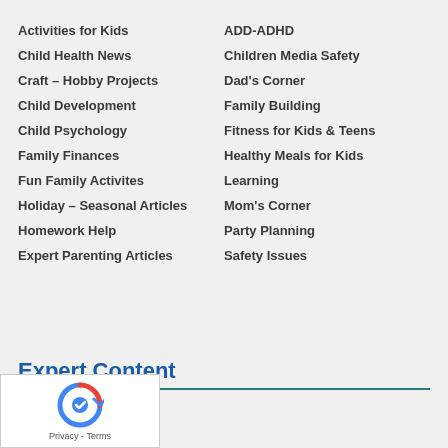Activities for Kids
ADD-ADHD
Child Health News
Children Media Safety
Craft – Hobby Projects
Dad's Corner
Child Development
Family Building
Child Psychology
Fitness for Kids & Teens
Family Finances
Healthy Meals for Kids
Fun Family Activites
Learning
Holiday – Seasonal Articles
Mom's Corner
Homework Help
Party Planning
Expert Parenting Articles
Safety Issues
Expert Content
Ages & Stages